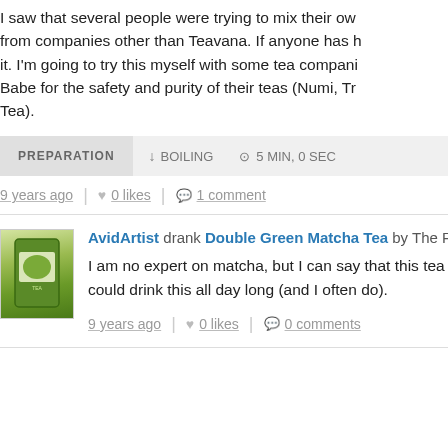I saw that several people were trying to mix their own from companies other than Teavana. If anyone has it. I'm going to try this myself with some tea compani Babe for the safety and purity of their teas (Numi, Tr Tea).
PREPARATION | BOILING | 5 MIN, 0 SEC
9 years ago | 0 likes | 1 comment
AvidArtist drank Double Green Matcha Tea by The Repu
I am no expert on matcha, but I can say that this tea could drink this all day long (and I often do).
9 years ago | 0 likes | 0 comments